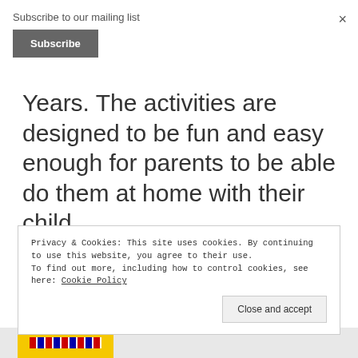Subscribe to our mailing list
Subscribe
×
Years. The activities are designed to be fun and easy enough for parents to be able do them at home with their child.
Privacy & Cookies: This site uses cookies. By continuing to use this website, you agree to their use.
To find out more, including how to control cookies, see here: Cookie Policy
Close and accept
[Figure (photo): Bottom strip with a yellow image placeholder containing colored horizontal lines]